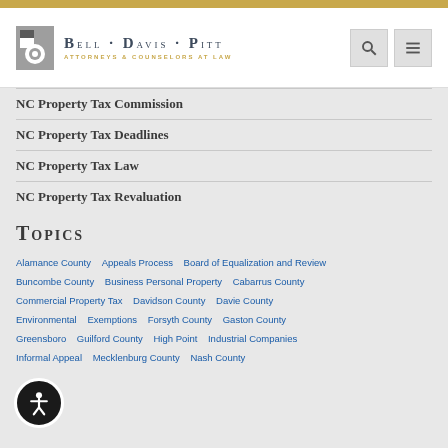[Figure (logo): Bell Davis Pitt Attorneys & Counselors at Law logo with stylized icon]
NC Property Tax Commission
NC Property Tax Deadlines
NC Property Tax Law
NC Property Tax Revaluation
Topics
Alamance County  Appeals Process  Board of Equalization and Review  Buncombe County  Business Personal Property  Cabarrus County  Commercial Property Tax  Davidson County  Davie County  Environmental  Exemptions  Forsyth County  Gaston County  Greensboro  Guilford County  High Point  Industrial Companies  Informal Appeal  Mecklenburg County  Nash County